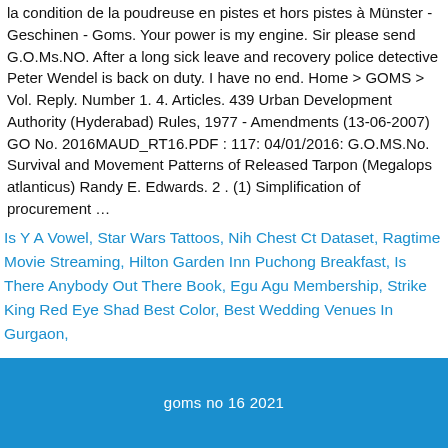la condition de la poudreuse en pistes et hors pistes à Münster - Geschinen - Goms. Your power is my engine. Sir please send G.O.Ms.NO. After a long sick leave and recovery police detective Peter Wendel is back on duty. I have no end. Home > GOMS > Vol. Reply. Number 1. 4. Articles. 439 Urban Development Authority (Hyderabad) Rules, 1977 - Amendments (13-06-2007) GO No. 2016MAUD_RT16.PDF : 117: 04/01/2016: G.O.MS.No. Survival and Movement Patterns of Released Tarpon (Megalops atlanticus) Randy E. Edwards. 2 . (1) Simplification of procurement …
Is Y A Vowel, Star Wars Tattoos, Nih Chest Ct Dataset, Ragtime Movie Streaming, Hilton Garden Inn Puchong Breakfast, Is There Anybody Out There Book, Egu Agu Membership, Strike King Red Eye Shad Best Color, Best Wedding Venues In Gurgaon,
goms no 16 2021